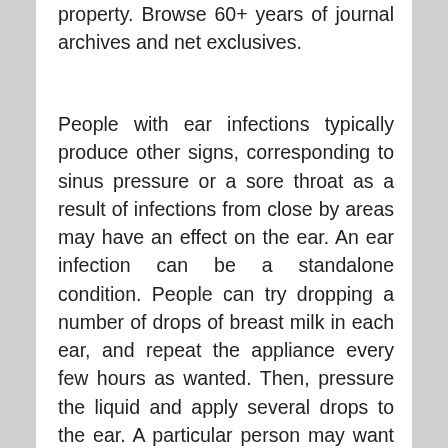property. Browse 60+ years of journal archives and net exclusives.
People with ear infections typically produce other signs, corresponding to sinus pressure or a sore throat as a result of infections from close by areas may have an effect on the ear. An ear infection can be a standalone condition. People can try dropping a number of drops of breast milk in each ear, and repeat the appliance every few hours as wanted. Then, pressure the liquid and apply several drops to the ear. A particular person may want to lie down for 10 minutes,